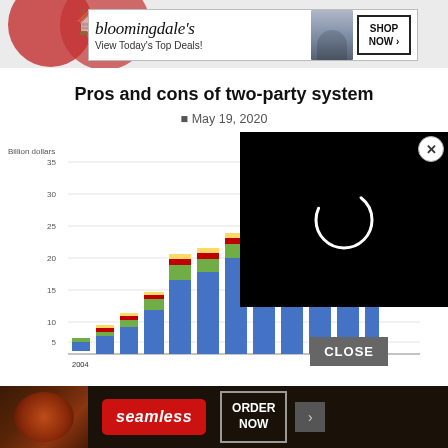[Figure (screenshot): Screenshot of a web page showing a Bloomingdales advertisement banner at the top with 'View Today's Top Deals!' text, a page title 'Pros and cons of two-party system', a date 'May 19, 2020', a partially visible stacked bar chart with 'Billion dollars' y-axis label, overlaid by a black video player with a loading spinner and a CLOSE button, and a Seamless food delivery ad at the bottom.]
[Figure (illustration): Red circular logo/icon in background behind the Bloomingdales ad]
[Figure (infographic): Bloomingdales advertisement banner: 'bloomingdales / View Today's Top Deals!' with SHOP NOW button]
Pros and cons of two-party system
May 19, 2020
[Figure (stacked-bar-chart): Partially visible stacked bar chart with y-axis labeled 'Billion dollars', values visible: 5, 10, 15, 20, 25, 30, 35. Multiple bars growing over years (2004 visible at bottom left). Legend items include 'Agricultural machinery' and 'seed'. Colors: blue (dominant), red/dark red, green, yellow segments.]
[Figure (screenshot): Black video player overlay with white circular loading spinner in center and X close button in top right corner]
[Figure (infographic): Seamless food delivery advertisement with pizza image, red Seamless badge, and ORDER NOW button]